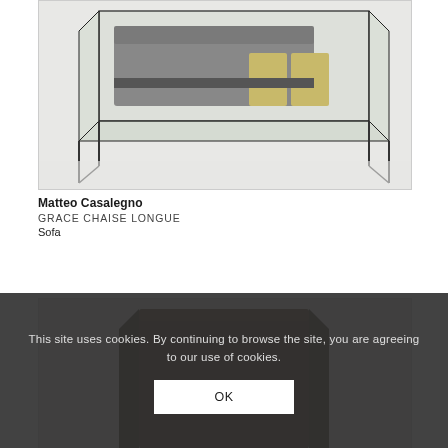[Figure (photo): Product photo of Grace Chaise Longue sofa with glass frame structure, light grey upholstery and yellow accent cushions, on white floor]
Matteo Casalegno
GRACE CHAISE LONGUE
Sofa
[Figure (photo): Partial product photo showing a dark brown leather or fabric furniture piece, partially obscured by cookie banner overlay]
This site uses cookies. By continuing to browse the site, you are agreeing to our use of cookies.
OK